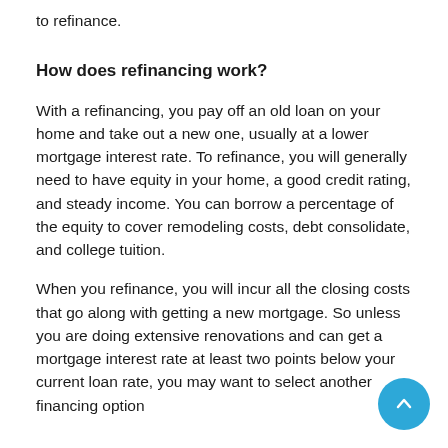to refinance.
How does refinancing work?
With a refinancing, you pay off an old loan on your home and take out a new one, usually at a lower mortgage interest rate. To refinance, you will generally need to have equity in your home, a good credit rating, and steady income. You can borrow a percentage of the equity to cover remodeling costs, debt consolidate, and college tuition.
When you refinance, you will incur all the closing costs that go along with getting a new mortgage. So unless you are doing extensive renovations and can get a mortgage interest rate at least two points below your current loan rate, you may want to select another financing option